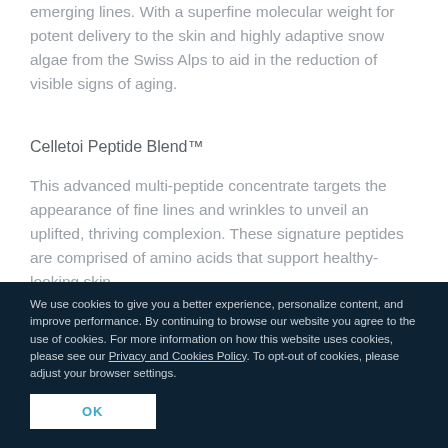emerging lines. With a superfine molecular weight for potent delivery to the skin and highly adaptive snow algae from the Swiss Alps to aid in the reduction of visible signs of aging.
Celletoi Peptide Blend™
This advanced multi-peptide concentrate targets the appearance of fine lines and wrinkles to unveil an uplifted, thriving complexion. These signature peptides are comprised of amino acids that support healthy-looking skin.
We use cookies to give you a better experience, personalize content, and improve performance. By continuing to browse our website you agree to the use of cookies. For more information on how this website uses cookies, please see our Privacy and Cookies Policy. To opt-out of cookies, please adjust your browser settings.